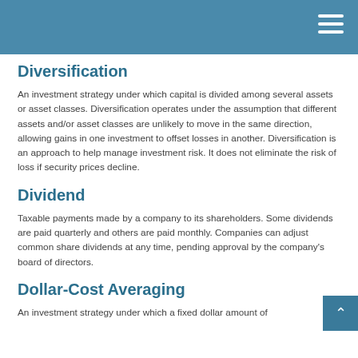Diversification
An investment strategy under which capital is divided among several assets or asset classes. Diversification operates under the assumption that different assets and/or asset classes are unlikely to move in the same direction, allowing gains in one investment to offset losses in another. Diversification is an approach to help manage investment risk. It does not eliminate the risk of loss if security prices decline.
Dividend
Taxable payments made by a company to its shareholders. Some dividends are paid quarterly and others are paid monthly. Companies can adjust common share dividends at any time, pending approval by the company's board of directors.
Dollar-Cost Averaging
An investment strategy under which a fixed dollar amount of